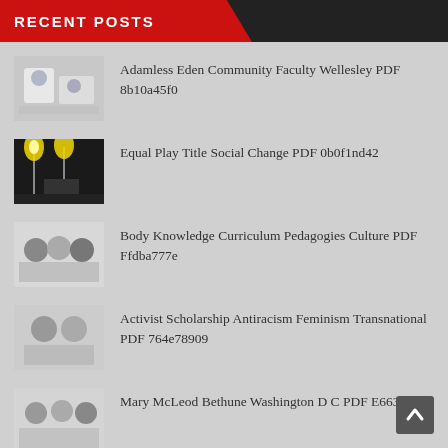RECENT POSTS
Adamless Eden Community Faculty Wellesley PDF 8b10a45f0
Equal Play Title Social Change PDF 0b0f1nd42
Body Knowledge Curriculum Pedagogies Culture PDF Ffdba777e
Activist Scholarship Antiracism Feminism Transnational PDF 764e78909
Mary McLeod Bethune Washington D C PDF E663e545d
Taking Women Seriously Educating Education PDF 3aa068720